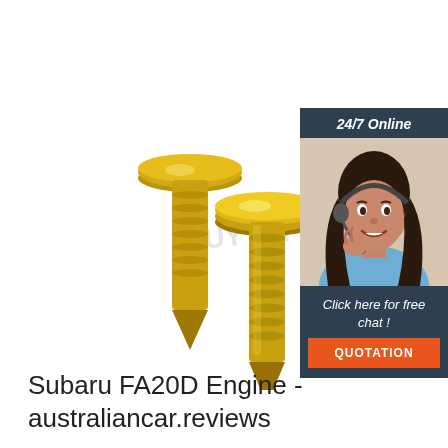[Figure (photo): Two gold/yellow zinc-plated self-drilling screws with pan heads, on a white background, with a faint watermark text in the center]
[Figure (infographic): Advertisement banner: dark blue background with '24/7 Online' header in italic white text, photo of smiling woman with headset, 'Click here for free chat!' italic white text, and an orange 'QUOTATION' button]
Subaru FA20D Engine - australiancar.reviews